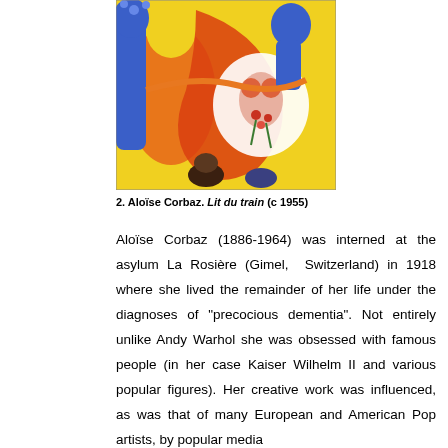[Figure (illustration): Colorful artwork by Aloïse Corbaz showing stylized figures in orange, blue, and yellow tones with floral motifs]
2. Aloïse Corbaz. Lit du train (c 1955)
Aloïse Corbaz (1886-1964) was interned at the asylum La Rosière (Gimel, Switzerland) in 1918 where she lived the remainder of her life under the diagnoses of "precocious dementia". Not entirely unlike Andy Warhol she was obsessed with famous people (in her case Kaiser Wilhelm II and various popular figures). Her creative work was influenced, as was that of many European and American Pop artists, by popular media